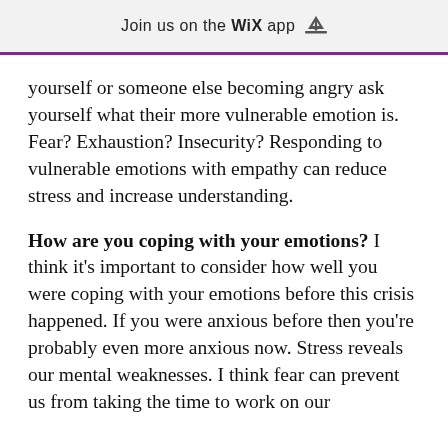Join us on the WiX app
yourself or someone else becoming angry ask yourself what their more vulnerable emotion is. Fear? Exhaustion? Insecurity? Responding to vulnerable emotions with empathy can reduce stress and increase understanding.
How are you coping with your emotions? I think it's important to consider how well you were coping with your emotions before this crisis happened. If you were anxious before then you're probably even more anxious now. Stress reveals our mental weaknesses. I think fear can prevent us from taking the time to work on our